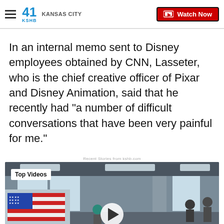41 KSHB KANSAS CITY | Watch Now
In an internal memo sent to Disney employees obtained by CNN, Lasseter, who is the chief creative officer of Pixar and Disney Animation, said that he recently had "a number of difficult conversations that have been very painful for me."
Recent Stories from kshb.com
[Figure (screenshot): Video thumbnail showing a voting location with American flag imagery and 'VOTE HERE' text visible. Overlay shows 'Top Videos' label and a play button.]